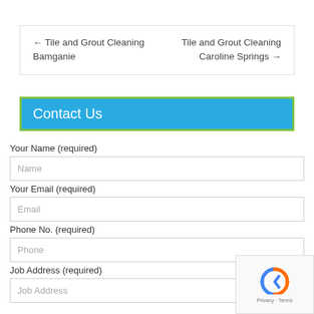← Tile and Grout Cleaning Bamganie
Tile and Grout Cleaning Caroline Springs →
Contact Us
Your Name (required)
Your Email (required)
Phone No. (required)
Job Address (required)